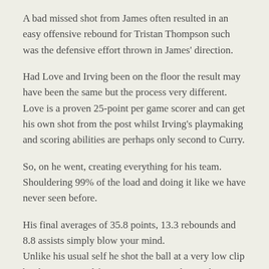A bad missed shot from James often resulted in an easy offensive rebound for Tristan Thompson such was the defensive effort thrown in James' direction.
Had Love and Irving been on the floor the result may have been the same but the process very different. Love is a proven 25-point per game scorer and can get his own shot from the post whilst Irving's playmaking and scoring abilities are perhaps only second to Curry.
So, on he went, creating everything for his team. Shouldering 99% of the load and doing it like we have never seen before.
His final averages of 35.8 points, 13.3 rebounds and 8.8 assists simply blow your mind. Unlike his usual self he shot the ball at a very low clip but he committed few turnovers considering the amount of time he